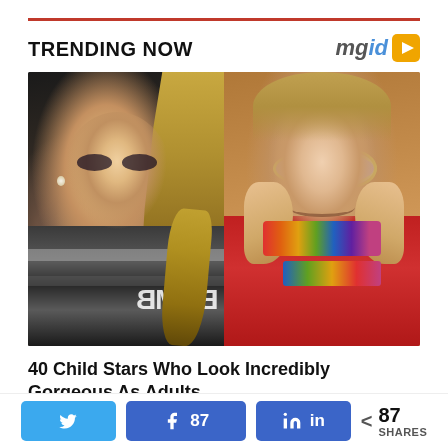TRENDING NOW
[Figure (photo): Two-panel image: left panel shows a young blonde woman in a metallic dress at a red carpet event; right panel shows a young girl with glasses and rainbow bracelets smiling.]
40 Child Stars Who Look Incredibly Gorgeous As Adults
< 87 SHARES